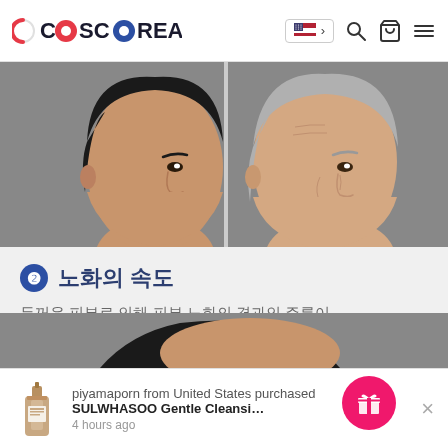CCOSCOREA — navigation header with logo, US flag, search, cart, menu icons
[Figure (illustration): Illustration of two male faces in profile side by side — a younger man with dark hair on the left and an older man on the right, showing aging differences in skin]
❷ 노화의 속도
두꺼운 피부로 인해 피부 노화의 결과인 주름이 상대적으로 늦게 나타납니다.
[Figure (illustration): Partial view of another illustration at the bottom of the page]
piyamaporn from United States purchased
SULWHASOO Gentle Cleansing Foam ... ml
4 hours ago